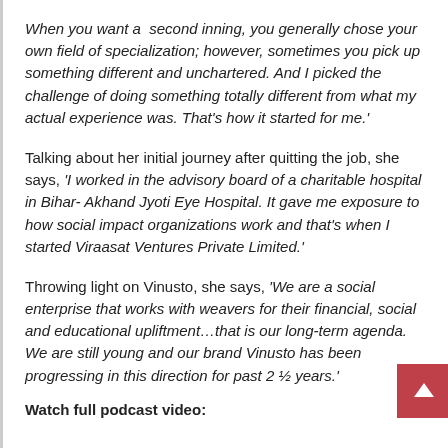When you want a second inning, you generally chose your own field of specialization; however, sometimes you pick up something different and unchartered. And I picked the challenge of doing something totally different from what my actual experience was. That's how it started for me.'
Talking about her initial journey after quitting the job, she says, 'I worked in the advisory board of a charitable hospital in Bihar- Akhand Jyoti Eye Hospital. It gave me exposure to how social impact organizations work and that's when I started Viraasat Ventures Private Limited.'
Throwing light on Vinusto, she says, 'We are a social enterprise that works with weavers for their financial, social and educational upliftment…that is our long-term agenda. We are still young and our brand Vinusto has been progressing in this direction for past 2 ½ years.'
Watch full podcast video: